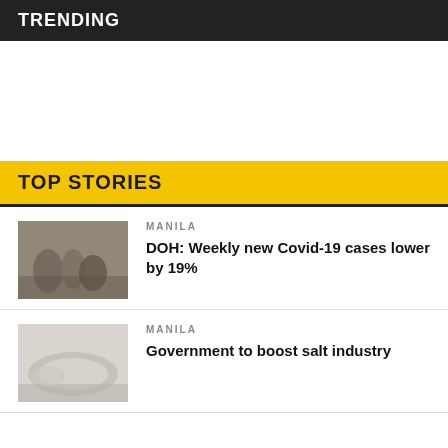TRENDING
TOP STORIES
MANILA
DOH: Weekly new Covid-19 cases lower by 19%
MANILA
Government to boost salt industry